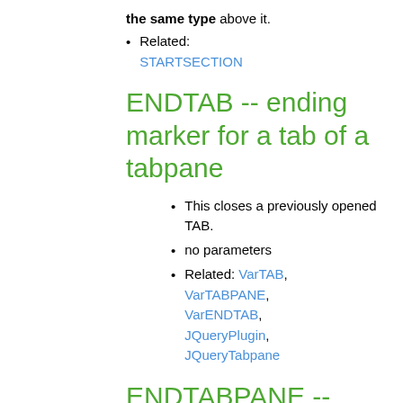the same type above it.
Related: STARTSECTION
ENDTAB -- ending marker for a tab of a tabpane
This closes a previously opened TAB.
no parameters
Related: VarTAB, VarTABPANE, VarENDTAB, JQueryPlugin, JQueryTabpane
ENDTABPANE -- ending tag for tabpane widget